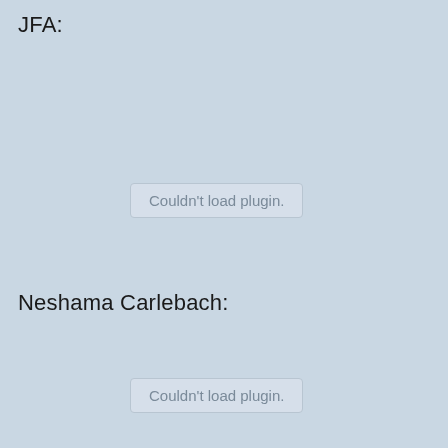JFA:
[Figure (other): Couldn't load plugin. - embedded audio or media plugin placeholder for JFA]
Neshama Carlebach:
[Figure (other): Couldn't load plugin. - embedded audio or media plugin placeholder for Neshama Carlebach]